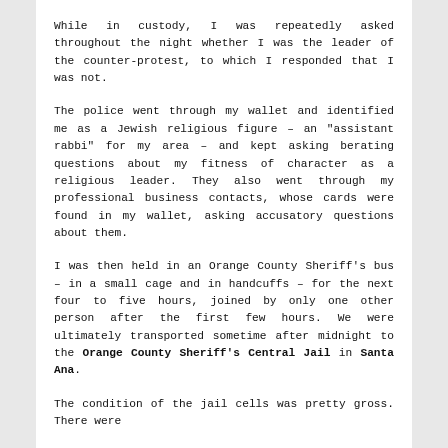While in custody, I was repeatedly asked throughout the night whether I was the leader of the counter-protest, to which I responded that I was not.
The police went through my wallet and identified me as a Jewish religious figure – an "assistant rabbi" for my area – and kept asking berating questions about my fitness of character as a religious leader. They also went through my professional business contacts, whose cards were found in my wallet, asking accusatory questions about them.
I was then held in an Orange County Sheriff's bus – in a small cage and in handcuffs – for the next four to five hours, joined by only one other person after the first few hours. We were ultimately transported sometime after midnight to the Orange County Sheriff's Central Jail in Santa Ana.
The condition of the jail cells was pretty gross. There were